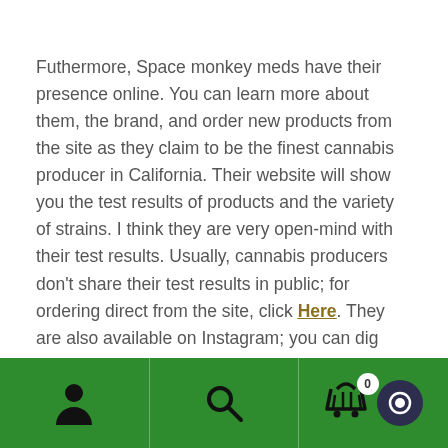Futhermore, Space monkey meds have their presence online. You can learn more about them, the brand, and order new products from the site as they claim to be the finest cannabis producer in California. Their website will show you the test results of products and the variety of strains. I think they are very open-mind with their test results. Usually, cannabis producers don't share their test results in public; for ordering direct from the site, click Here. They are also available on Instagram; you can dig more about the brand and their product from the social network.
Navigation bar with person icon, search icon, cart icon (badge: 0), and chat button